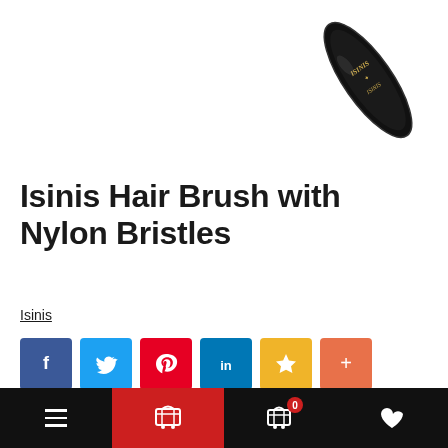[Figure (photo): Partial view of a black oval hair brush with gold 'Isinis' branding, shown at an angle in the upper right corner of the page.]
Isinis Hair Brush with Nylon Bristles
Isinis
[Figure (infographic): Row of six social sharing buttons: Facebook (dark blue, f), Twitter (light blue, bird), Pinterest (red, p), LinkedIn (blue, in), Favorites (yellow, star), More (orange, +)]
Product Code:    IS1434-01
Availability:    Out of stock
Navigation bar with hamburger menu, cart (0), and heart icons